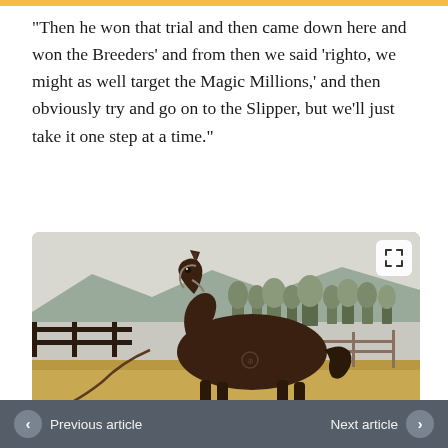“Then he won that trial and then came down here and won the Breeders’ and from then we said ‘righto, we might as well target the Magic Millions,’ and then obviously try and go on to the Slipper, but we’ll just take it one step at a time.”
[Figure (photo): A dark bay/brown horse standing in profile in a paddock, with mountains and trees in the background. The horse is wearing a halter and lead rope.]
Previous article   Next article